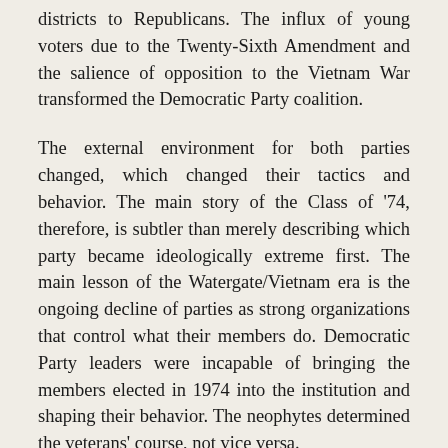districts to Republicans. The influx of young voters due to the Twenty-Sixth Amendment and the salience of opposition to the Vietnam War transformed the Democratic Party coalition.
The external environment for both parties changed, which changed their tactics and behavior. The main story of the Class of '74, therefore, is subtler than merely describing which party became ideologically extreme first. The main lesson of the Watergate/Vietnam era is the ongoing decline of parties as strong organizations that control what their members do. Democratic Party leaders were incapable of bringing the members elected in 1974 into the institution and shaping their behavior. The neophytes determined the veterans' course, not vice versa.